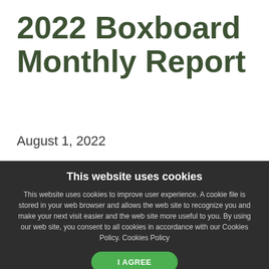2022 Boxboard Monthly Report
August 1, 2022
Total Boxboard production in Q2 increased 1% compared to Q2 2021. It was up 2% when
This website uses cookies
This website uses cookies to improve user experience. A cookie file is stored in your web browser and allows the web site to recognize you and make your next visit easier and the web site more useful to you. By using our web site, you consent to all cookies in accordance with our Cookies Policy. Cookies Policy
I AGREE